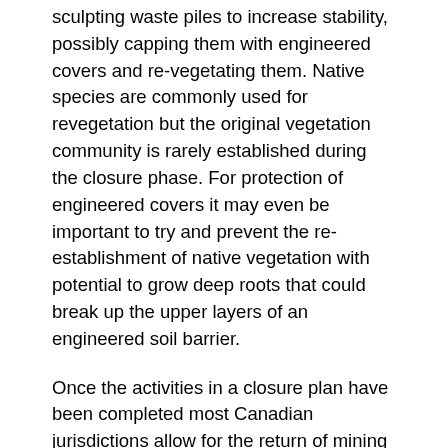sculpting waste piles to increase stability, possibly capping them with engineered covers and re-vegetating them. Native species are commonly used for revegetation but the original vegetation community is rarely established during the closure phase. For protection of engineered covers it may even be important to try and prevent the re-establishment of native vegetation with potential to grow deep roots that could break up the upper layers of an engineered soil barrier.
Once the activities in a closure plan have been completed most Canadian jurisdictions allow for the return of mining lands to government control and authority, potentially absolving the company of future liability. Though possible, few provincial jurisdictions outside of Quebec and Saskatchewan have taken back mining lands into government hands, in large part due to the lack of clear policy